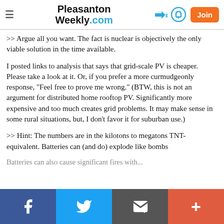Pleasanton Weekly.com
>> Argue all you want. The fact is nuclear is objectively the only viable solution in the time available.
I posted links to analysis that says that grid-scale PV is cheaper. Please take a look at it. Or, if you prefer a more curmudgeonly response, "Feel free to prove me wrong." (BTW, this is not an argument for distributed home rooftop PV. Significantly more expensive and too much creates grid problems. It may make sense in some rural situations, but, I don't favor it for suburban use.)
>> Hint: The numbers are in the kilotons to megatons TNT-equivalent. Batteries can (and do) explode like bombs
Batteries can also cause significant fires with...
f  Twitter  Email  +